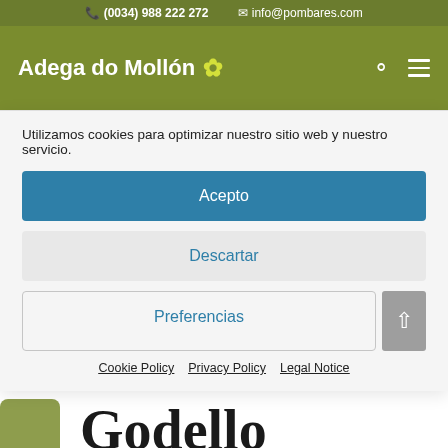(0034) 988 222 272  info@pombares.com
[Figure (logo): Adega do Mollón logo with green leaf icon, search and menu icons on right]
Utilizamos cookies para optimizar nuestro sitio web y nuestro servicio.
Acepto
Descartar
Preferencias
Cookie Policy  Privacy Policy  Legal Notice
Godello